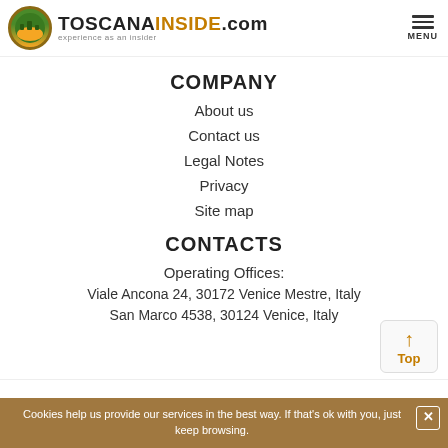TOSCANAINSIDE.com experience as an insider | MENU
COMPANY
About us
Contact us
Legal Notes
Privacy
Site map
CONTACTS
Operating Offices:
Viale Ancona 24, 30172 Venice Mestre, Italy
San Marco 4538, 30124 Venice, Italy
Cookies help us provide our services in the best way. If that's ok with you, just keep browsing.